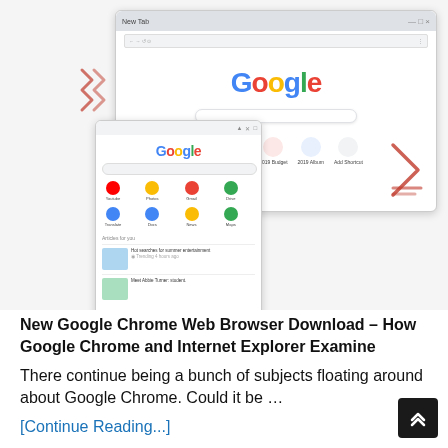[Figure (screenshot): Two overlapping Chrome browser screenshots — a desktop Chrome new tab showing the Google homepage, and a mobile Chrome new tab showing Google search with app shortcuts and news feed. Decorative red zigzag on left and red arrow on right.]
New Google Chrome Web Browser Download – How Google Chrome and Internet Explorer Examine There continue being a bunch of subjects floating around about Google Chrome. Could it be …
[Continue Reading...]